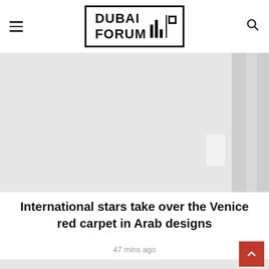DUBAI FORUM
[Figure (photo): Large placeholder image area, light gray background with a darker vertical strip on the right side and a small lighter inset rectangle near the bottom right.]
International stars take over the Venice red carpet in Arab designs
47 mins ago
[Figure (photo): Partial placeholder image at bottom of page, light gray background.]